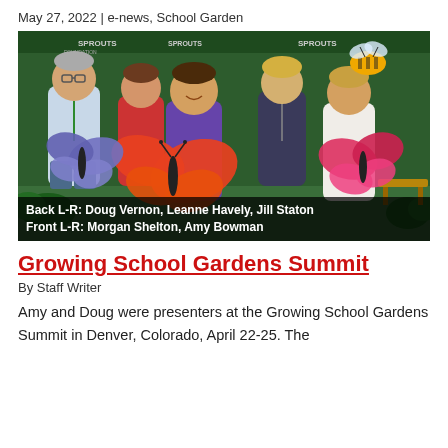May 27, 2022 | e-news, School Garden
[Figure (photo): Group photo of five people (Doug Vernon, Leanne Havely, Jill Staton, and others) standing in front of a green Sprouts Foundation backdrop, holding large colorful painted butterfly and bee cutouts. Caption at bottom reads: Back L-R: Doug Vernon, Leanne Havely, Jill Staton / Front L-R: Morgan Sheldon, Amy Bowman]
Growing School Gardens Summit
By Staff Writer
Amy and Doug were presenters at the Growing School Gardens Summit in Denver, Colorado, April 22-25. The